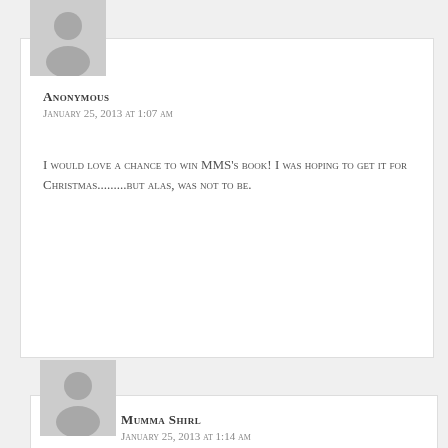[Figure (illustration): Anonymous user avatar placeholder — grey silhouette of a person on grey background]
Anonymous
January 25, 2013 at 1:07 am
I would love a chance to win MMS's book! I was hoping to get it for Christmas.........but alas, was not to be.
[Figure (illustration): Mumma Shirl user avatar placeholder — grey silhouette of a person on grey background]
Mumma Shirl
January 25, 2013 at 1:14 am